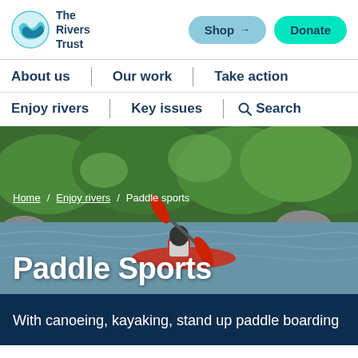[Figure (logo): The Rivers Trust logo with circular blue wave icon and text 'The Rivers Trust']
Shop  Donate
About us | Our work | Take action
Enjoy rivers | Key issues | Search
[Figure (photo): Person kayaking in red kayak on a rocky river with green trees in background]
Home / Enjoy rivers / Paddle sports
Paddle Sports
With canoeing, kayaking, stand up paddle boarding